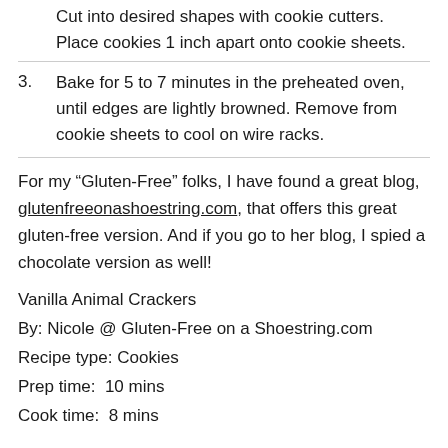Cut into desired shapes with cookie cutters. Place cookies 1 inch apart onto cookie sheets.
3. Bake for 5 to 7 minutes in the preheated oven, until edges are lightly browned. Remove from cookie sheets to cool on wire racks.
For my “Gluten-Free” folks, I have found a great blog, glutenfreeonashoestring.com, that offers this great gluten-free version. And if you go to her blog, I spied a chocolate version as well!
Vanilla Animal Crackers
By: Nicole @ Gluten-Free on a Shoestring.com
Recipe type: Cookies
Prep time:  10 mins
Cook time:  8 mins